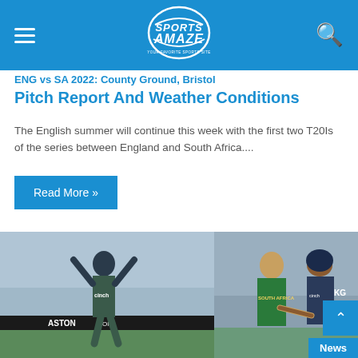Sports Amaze
ENG vs SA 2022: County Ground, Bristol Pitch Report And Weather Conditions
The English summer will continue this week with the first two T20Is of the series between England and South Africa....
Read More »
[Figure (photo): Left: England bowler celebrating with arms raised wearing cinch jersey. Right: South Africa player in green jersey and England player in dark helmet shaking hands.]